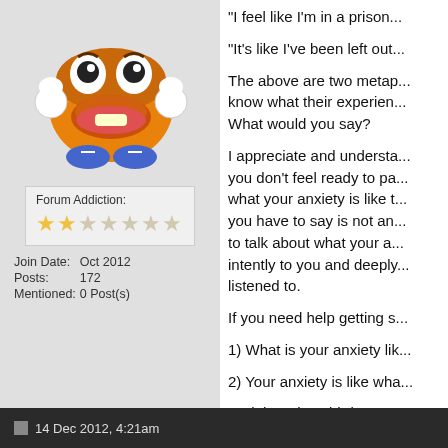[Figure (illustration): Cartoon character avatar resembling a potato/hotdog with googly eyes, big lips, and sneakers]
Forum Addiction:
[Figure (other): Star rating: 2 out of 7 stars filled]
| Join Date: | Oct 2012 |
| Posts: | 172 |
| Mentioned: | 0 Post(s) |
"I feel like I'm in a prison..."
"It's like I've been left out..."
The above are two metap... know what their experien... What would you say?
I appreciate and understa... you don't feel ready to pa... what your anxiety is like t... you have to say is not an... to talk about what your a... intently to you and deeply... listened to.
If you need help getting s...
1) What is your anxiety lik...
2) Your anxiety is like wha...
And there is a third quest...
3) When you get anxious...
14 Dec 2012, 4:21am